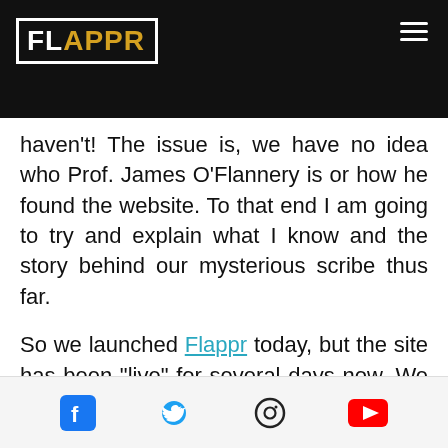FLAPPR [navigation header]
haven't!  The issue is, we have no idea who Prof. James O'Flannery is or how he found the website.  To that end I am going to try and explain what I know and the story behind our mysterious scribe thus far.
So we launched Flappr today, but the site has been "live" for several days now.  We sent it around to friends and family to look at and give us feedback, mainly just to help us locate broken links and the like. Well, lo and behold . . . I got the following email from Prof.
Social icons: Facebook, Twitter, Instagram, YouTube